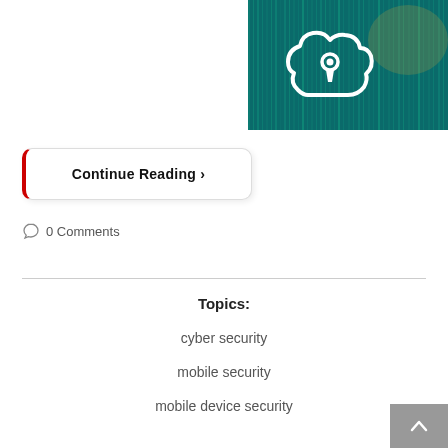[Figure (photo): Cyber security concept image showing a cloud shape with a keyhole lock outline on a dark teal digital matrix background]
Continue Reading >
0 Comments
Topics:
cyber security
mobile security
mobile device security